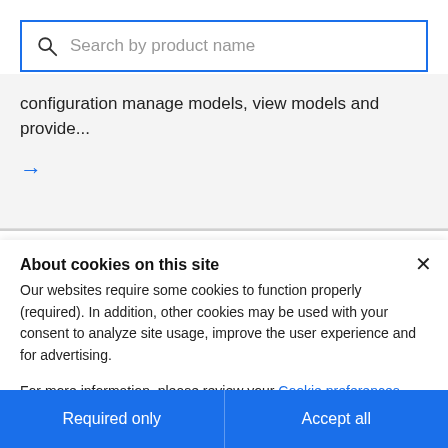[Figure (screenshot): Search bar with magnifying glass icon and placeholder text 'Search by product name', outlined in blue]
configuration manage models, view models and provide...
→
About cookies on this site
Our websites require some cookies to function properly (required). In addition, other cookies may be used with your consent to analyze site usage, improve the user experience and for advertising.
For more information, please review your Cookie preferences options and IBM's privacy statement.
Required only
Accept all